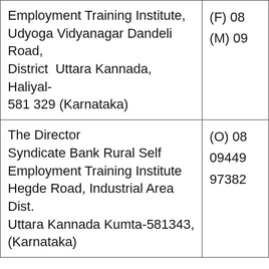| Employment Training Institute, Udyoga Vidyanagar Dandeli Road, District Uttara Kannada, Haliyal-581 329 (Karnataka) | (F) 08...
(M) 09... |
| The Director
Syndicate Bank Rural Self Employment Training Institute
Hegde Road, Industrial Area Dist. Uttara Kannada Kumta-581343, (Karnataka) | (O) 08...
09449...
97382... |